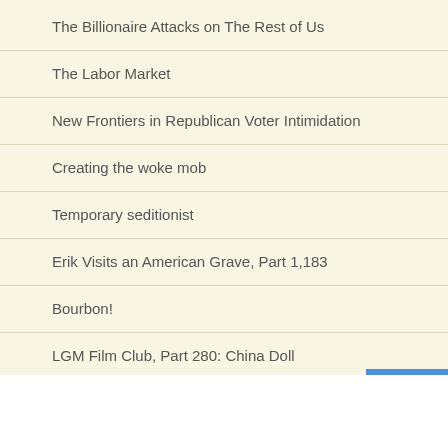The Billionaire Attacks on The Rest of Us
The Labor Market
New Frontiers in Republican Voter Intimidation
Creating the woke mob
Temporary seditionist
Erik Visits an American Grave, Part 1,183
Bourbon!
LGM Film Club, Part 280: China Doll
“Sit by my window and look outside/ wonder why the sun